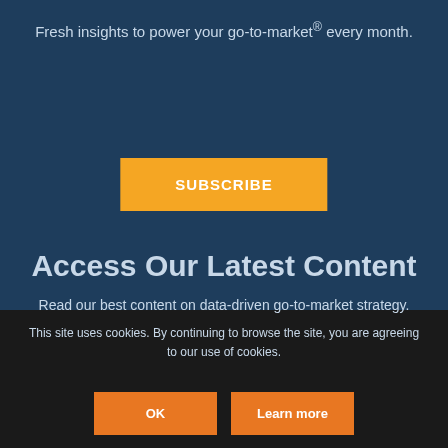Fresh insights to power your go-to-market® every month.
SUBSCRIBE
Access Our Latest Content
Read our best content on data-driven go-to-market strategy.
This site uses cookies. By continuing to browse the site, you are agreeing to our use of cookies.
OK
Learn more